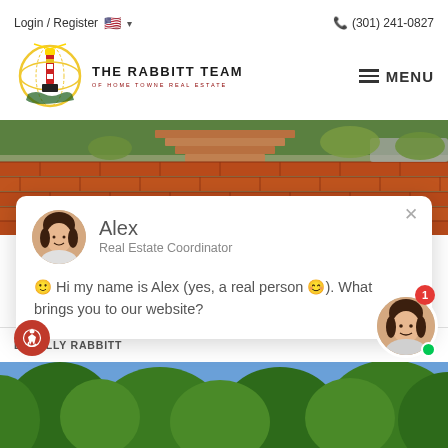Login / Register  🇺🇸 ▾   📞 (301) 241-0827
[Figure (logo): The Rabbitt Team of Home Towne Real Estate lighthouse logo with circular design]
≡ MENU
[Figure (photo): Brick retaining wall with steps leading up to a house, green landscaping and parked car visible]
Alex
Real Estate Coordinator
🙂 Hi my name is Alex (yes, a real person 😊). What brings you to our website?
BY BILLY RABBITT   8/2
[Figure (photo): Footer image of trees and blue sky]